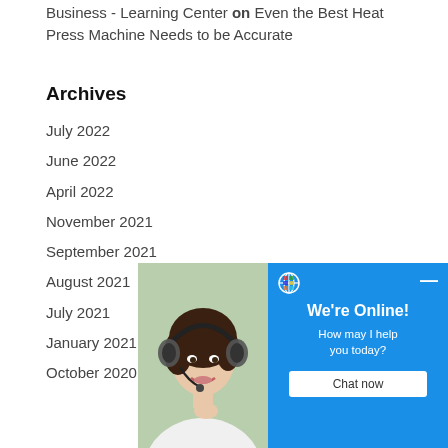Business - Learning Center on Even the Best Heat Press Machine Needs to be Accurate
Archives
July 2022
June 2022
April 2022
November 2021
September 2021
August 2021
July 2021
January 2021
October 2020
[Figure (screenshot): Live chat widget showing a customer support representative wearing a headset, with a blue panel saying 'We're Online! How may I help you today?' and a 'Chat now' button.]